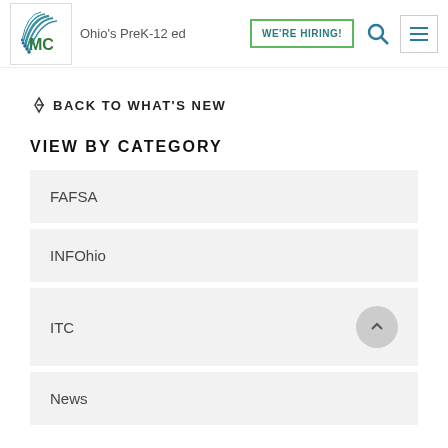Ohio's PreK-12 ed... WE'RE HIRING!
↩ BACK TO WHAT'S NEW
VIEW BY CATEGORY
FAFSA
INFOhio
ITC
News